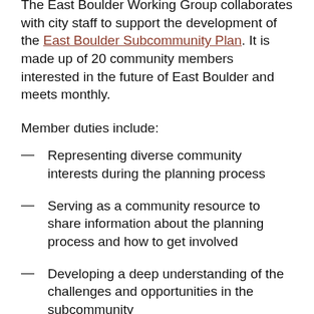The East Boulder Working Group collaborates with city staff to support the development of the East Boulder Subcommunity Plan. It is made up of 20 community members interested in the future of East Boulder and meets monthly.
Member duties include:
Representing diverse community interests during the planning process
Serving as a community resource to share information about the planning process and how to get involved
Developing a deep understanding of the challenges and opportunities in the subcommunity